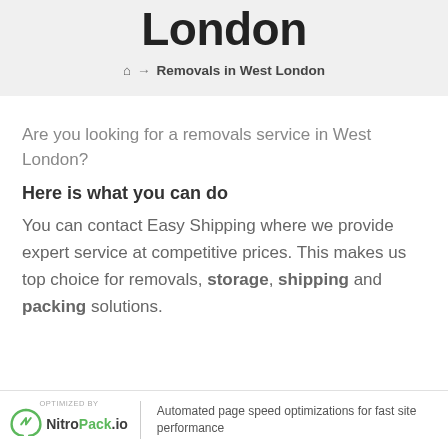London
🏠 → Removals in West London
Are you looking for a removals service in West London?
Here is what you can do
You can contact Easy Shipping where we provide expert service at competitive prices. This makes us top choice for removals, storage, shipping and packing solutions.
OPTIMIZED BY NitroPack.io | Automated page speed optimizations for fast site performance